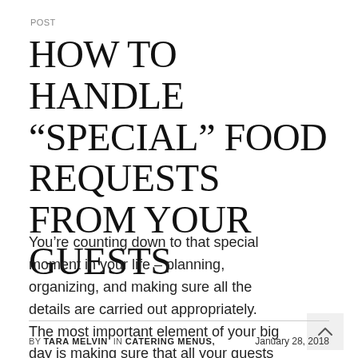POST
HOW TO HANDLE “SPECIAL” FOOD REQUESTS FROM YOUR GUESTS
You’re counting down to that special moment in your life – planning, organizing, and making sure all the details are carried out appropriately.  The most important element of your big day is making sure that all your guests have a wonderful dining experience during your wedding that will have them talking for days.  During all the planning, y
BY TARA MELVIN  IN CATERING MENUS,    January 28, 2018